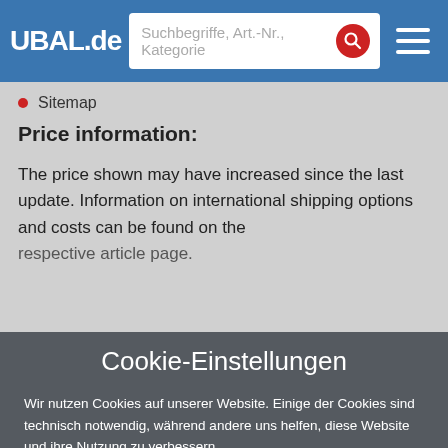UBAL.de — navigation bar with search field
Sitemap
Price information:
The price shown may have increased since the last update. Information on international shipping options and costs can be found on the respective article page.
Cookie-Einstellungen
Wir nutzen Cookies auf unserer Website. Einige der Cookies sind technisch notwendig, während andere uns helfen, diese Website und ihre Nutzung zu verbessern.
Cookies akzeptieren
Datenschutzerklärung    Cookies